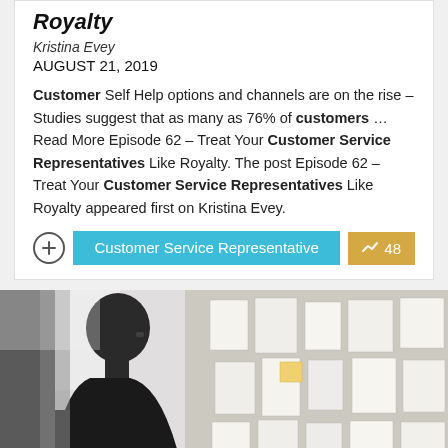Royalty
Kristina Evey
AUGUST 21, 2019
Customer Self Help options and channels are on the rise – Studies suggest that as many as 76% of customers … Read More Episode 62 – Treat Your Customer Service Representatives Like Royalty. The post Episode 62 – Treat Your Customer Service Representatives Like Royalty appeared first on Kristina Evey.
Customer Service Representative  48
[Figure (photo): A person seen from behind/side in silhouette, looking at a board wall covered with papers and sticky notes]